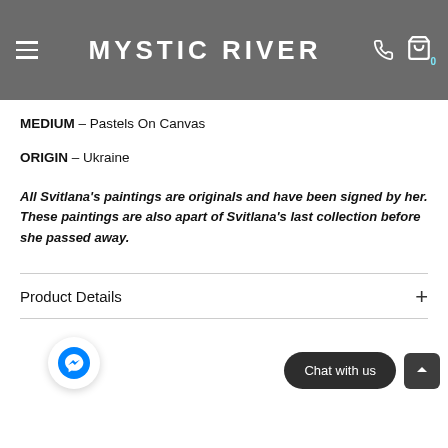MYSTIC RIVER
MEDIUM - Pastels On Canvas
ORIGIN - Ukraine
All Svitlana's paintings are originals and have been signed by her. These paintings are also apart of Svitlana's last collection before she passed away.
Product Details
Chat with us